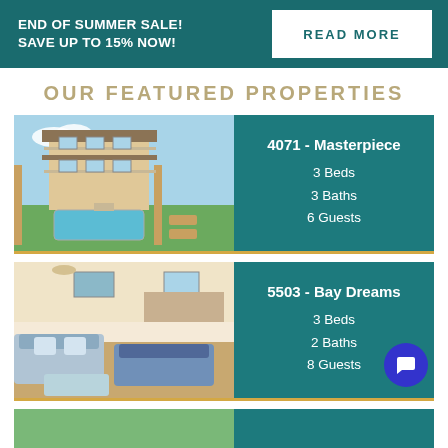END OF SUMMER SALE! SAVE UP TO 15% NOW!
READ MORE
OUR FEATURED PROPERTIES
[Figure (photo): Exterior photo of beach house with pool and lounge chairs]
4071 - Masterpiece
3 Beds
3 Baths
6 Guests
[Figure (photo): Interior photo of beach house living room with blue sofas]
5503 - Bay Dreams
3 Beds
2 Baths
8 Guests